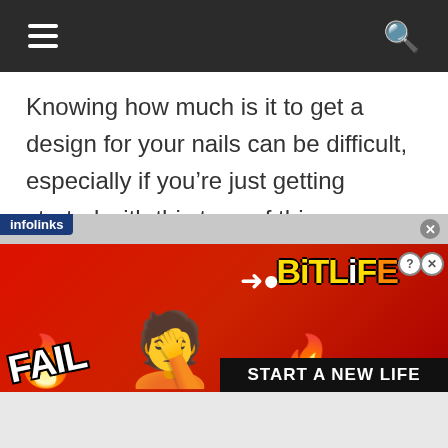≡  🔍
Knowing how much is it to get a design for your nails can be difficult, especially if you're just getting started with this type of thing. However, knowing the basics and knowing where to get these designs will help you make it easier for yourself.
[Figure (screenshot): Advertisement banner for BitLife game with 'FAIL' text on left, animated emoji character in middle, fire graphics, and 'START A NEW LIFE' text on right. Infolinks label in top left corner.]